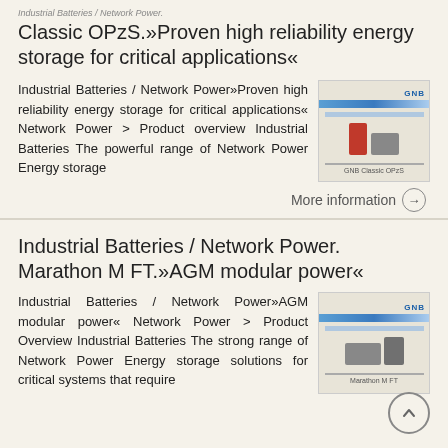Industrial Batteries / Network Power. Classic OPzS.»Proven high reliability energy storage for critical applications«
Industrial Batteries / Network Power»Proven high reliability energy storage for critical applications« Network Power > Product overview Industrial Batteries The powerful range of Network Power Energy storage
[Figure (photo): GNB branded product image showing battery units and a product sheet/brochure for Classic OPzS industrial batteries]
More information →
Industrial Batteries / Network Power. Marathon M FT.»AGM modular power«
Industrial Batteries / Network Power»AGM modular power« Network Power > Product Overview Industrial Batteries The strong range of Network Power Energy storage solutions for critical systems that require
[Figure (photo): GNB branded product image showing Marathon M FT AGM battery units and a product sheet/brochure]